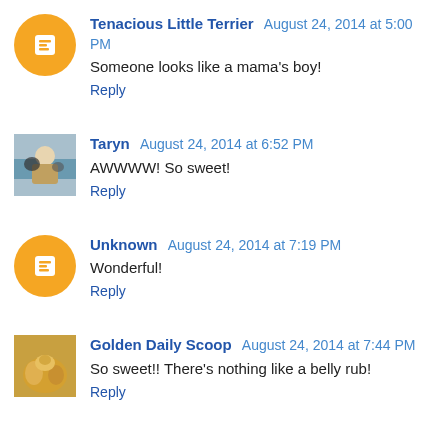Tenacious Little Terrier August 24, 2014 at 5:00 PM
Someone looks like a mama's boy!
Reply
Taryn August 24, 2014 at 6:52 PM
AWWWW! So sweet!
Reply
Unknown August 24, 2014 at 7:19 PM
Wonderful!
Reply
Golden Daily Scoop August 24, 2014 at 7:44 PM
So sweet!! There's nothing like a belly rub!
Reply